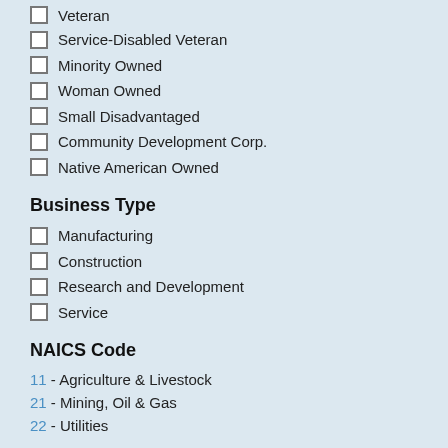Veteran
Service-Disabled Veteran
Minority Owned
Woman Owned
Small Disadvantaged
Community Development Corp.
Native American Owned
Business Type
Manufacturing
Construction
Research and Development
Service
NAICS Code
11 - Agriculture & Livestock
21 - Mining, Oil & Gas
22 - Utilities